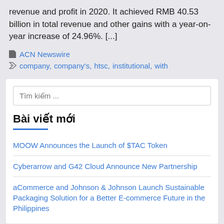revenue and profit in 2020. It achieved RMB 40.53 billion in total revenue and other gains with a year-on-year increase of 24.96%. [...]
ACN Newswire
company, company's, htsc, institutional, with
Tìm kiếm ...
Bài viết mới
MOOW Announces the Launch of $TAC Token
Cyberarrow and G42 Cloud Announce New Partnership
aCommerce and Johnson & Johnson Launch Sustainable Packaging Solution for a Better E-commerce Future in the Philippines